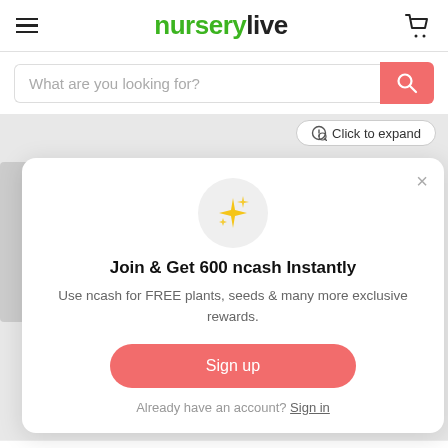nurserylive
What are you looking for?
Click to expand
[Figure (screenshot): Popup modal on nurserylive website offering 600 ncash reward for signing up]
Join & Get 600 ncash Instantly
Use ncash for FREE plants, seeds & many more exclusive rewards.
Sign up
Already have an account? Sign in
(MRP Inclusive of all taxes)